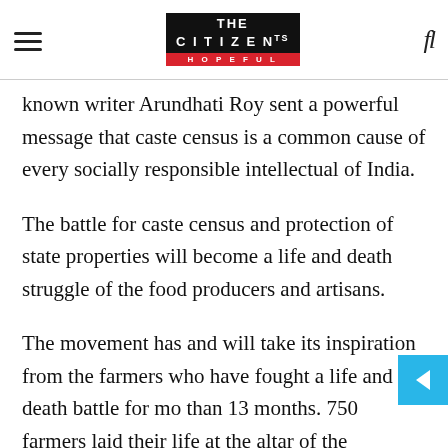THE CITIZEN IS HOPEFUL
known writer Arundhati Roy sent a powerful message that caste census is a common cause of every socially responsible intellectual of India.
The battle for caste census and protection of state properties will become a life and death struggle of the food producers and artisans.
The movement has and will take its inspiration from the farmers who have fought a life and death battle for more than 13 months. 750 farmers laid their life at the altar of the Hindutva and monopoly exploiters. The Shudra/OBCs, who voted for Modi and the RSS,